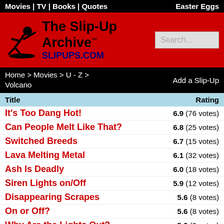Movies | TV | Books | Quotes    Easter Eggs
[Figure (logo): The Slip-Up Archive logo with falling figure illustration and SLIPUPS.COM text on red background]
Home > Movies > U - Z > Volcano    Add a Slip-Up
| Title | Rating |
| --- | --- |
| It's Too Dang Hot! | 6.9 (76 votes) |
| Can People Melt Like That? | 6.8 (25 votes) |
| Switched Breeds | 6.7 (15 votes) |
| Lava Melting Metal | 6.1 (32 votes) |
| Ash Is Deadly | 6.0 (18 votes) |
| Siren Lights on/Off | 5.9 (12 votes) |
| Disappearing Scrapes | 5.6 (8 votes) |
| On or Off? | 5.6 (8 votes) |
| Why Are the Lights Out? | 5.3 (9 votes) |
| What Is the Number? | 5.2 (12 votes) |